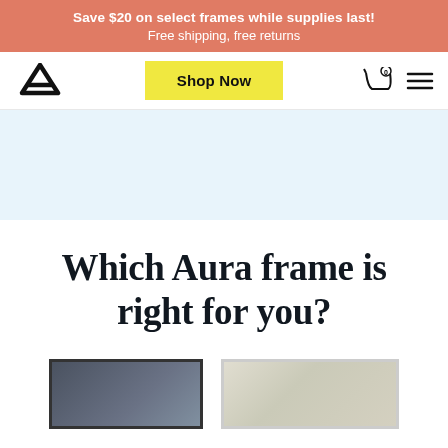Save $20 on select frames while supplies last! Free shipping, free returns
[Figure (screenshot): Navigation bar with Aura logo on left, yellow Shop Now button in center, cart icon and hamburger menu on right]
[Figure (photo): Light blue hero image area]
Which Aura frame is right for you?
[Figure (photo): Two product photos side by side: left shows a dark-framed digital photo frame, right shows a white/light-framed digital photo frame with a person and dog]